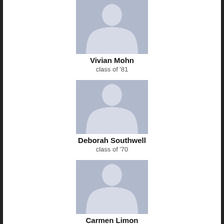[Figure (illustration): Female silhouette placeholder avatar on blue-grey background for Vivian Mohn]
Vivian Mohn
class of '81
[Figure (illustration): Female silhouette placeholder avatar on blue-grey background for Deborah Southwell]
Deborah Southwell
class of '70
[Figure (illustration): Female silhouette placeholder avatar on blue-grey background for Carmen Limon]
Carmen Limon
class of '80
[Figure (illustration): Female silhouette placeholder avatar on blue-grey background, partially visible at bottom]